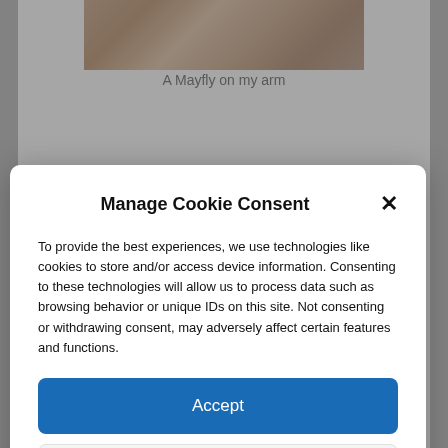[Figure (photo): Photo of a mayfly on an arm, pinkish-beige textured close-up]
A Mayfly on my arm
Manage Cookie Consent
To provide the best experiences, we use technologies like cookies to store and/or access device information. Consenting to these technologies will allow us to process data such as browsing behavior or unique IDs on this site. Not consenting or withdrawing consent, may adversely affect certain features and functions.
Accept
Deny
View preferences
Cookie Policy